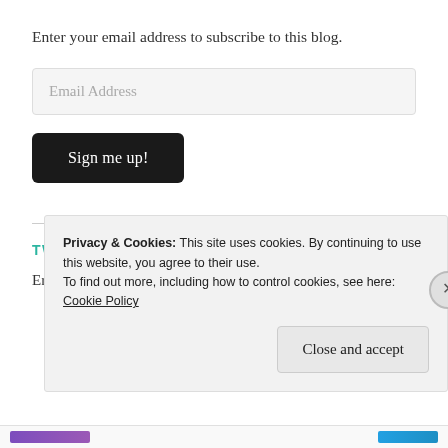Enter your email address to subscribe to this blog.
[Figure (screenshot): Email address input field with placeholder text 'Email Address']
[Figure (screenshot): Dark button labeled 'Sign me up!']
TWITTER UPDATES
Error: Please make sure the Twitter account is public.
Privacy & Cookies: This site uses cookies. By continuing to use this website, you agree to their use. To find out more, including how to control cookies, see here: Cookie Policy
Close and accept